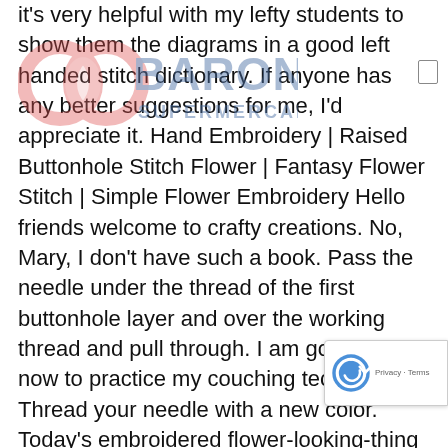it's very helpful with my lefty students to show them the diagrams in a good left handed stitch dictionary. If anyone has any better suggestions for me, I'd appreciate it. Hand Embroidery | Raised Buttonhole Stitch Flower | Fantasy Flower Stitch | Simple Flower Embroidery Hello friends welcome to crafty creations. No, Mary, I don't have such a book. Pass the needle under the thread of the first buttonhole layer and over the working thread and pull through. I am going right now to practice my couching techniques. Thread your needle with a new color. Today's embroidered flower-looking-thing doesn't necessarily have to be a flower – you can work it on curves or lines as well. After Googling, I found floche on another site but it's described as 5-ply. Starting on the line of your circle, work the buttonhole stitch around the circle, with the "twist" of the buttonhole stitch along the marked line, and the spokes
[Figure (logo): Baronesa Supermercados logo watermark overlaid on text — red circular icon on left, large blue BARONESA text and smaller SUPERMERCADOS text on right]